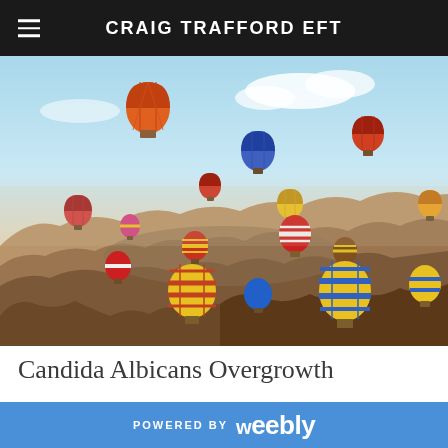CRAIG TRAFFORD EFT
[Figure (photo): Aerial photo of numerous colorful hot air balloons flying over the rocky landscape of Cappadocia, Turkey, with a blue sky and scattered clouds in the background.]
Candida Albicans Overgrowth
POWERED BY weebly